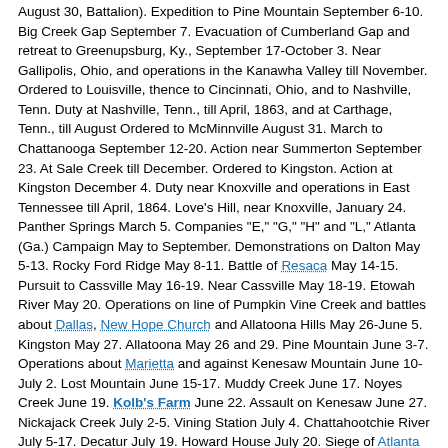August 30, Battalion). Expedition to Pine Mountain September 6-10. Big Creek Gap September 7. Evacuation of Cumberland Gap and retreat to Greenupsburg, Ky., September 17-October 3. Near Gallipolis, Ohio, and operations in the Kanawha Valley till November. Ordered to Louisville, thence to Cincinnati, Ohio, and to Nashville, Tenn. Duty at Nashville, Tenn., till April, 1863, and at Carthage, Tenn., till August Ordered to McMinnville August 31. March to Chattanooga September 12-20. Action near Summerton September 23. At Sale Creek till December. Ordered to Kingston. Action at Kingston December 4. Duty near Knoxville and operations in East Tennessee till April, 1864. Love's Hill, near Knoxville, January 24. Panther Springs March 5. Companies "E," "G," "H" and "L," Atlanta (Ga.) Campaign May to September. Demonstrations on Dalton May 5-13. Rocky Ford Ridge May 8-11. Battle of Resaca May 14-15. Pursuit to Cassville May 16-19. Near Cassville May 18-19. Etowah River May 20. Operations on line of Pumpkin Vine Creek and battles about Dallas, New Hope Church and Allatoona Hills May 26-June 5. Kingston May 27. Allatoona May 26 and 29. Pine Mountain June 3-7. Operations about Marietta and against Kenesaw Mountain June 10-July 2. Lost Mountain June 15-17. Muddy Creek June 17. Noyes Creek June 19. Kolb's Farm June 22. Assault on Kenesaw June 27. Nickajack Creek July 2-5. Vining Station July 4. Chattahootchie River July 5-17. Decatur July 19. Howard House July 20. Siege of Atlanta July 22-August 25. Utoy Creek August 5-7. Flank movement on Jonesboro August 25-31. Battle of Jonesboro August 31-September 1. Lovejoy Station September 2-6. Pursuit of Hood into Alabama October 3-26. Nashville Campaign November and December. Guard fords ot Duck River till November 28. Spring Hill November 29. Battle of Franklin November 30. Battle of Nashville December 15-16. Pursuit of Hood to the Tennessee River December 17-28. At Clifton, Tenn., till February, 1865. Moved to Nashville and mustered out February 23, 1865.